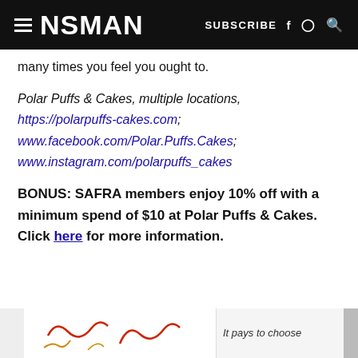NSMAN | SUBSCRIBE
many times you feel you ought to.
Polar Puffs & Cakes, multiple locations, https://polarpuffs-cakes.com; www.facebook.com/Polar.Puffs.Cakes; www.instagram.com/polarpuffs_cakes
BONUS: SAFRA members enjoy 10% off with a minimum spend of $10 at Polar Puffs & Cakes. Click here for more information.
[Figure (advertisement): Advertisement banner at the bottom with decorative squiggles and text 'It pays to choose']